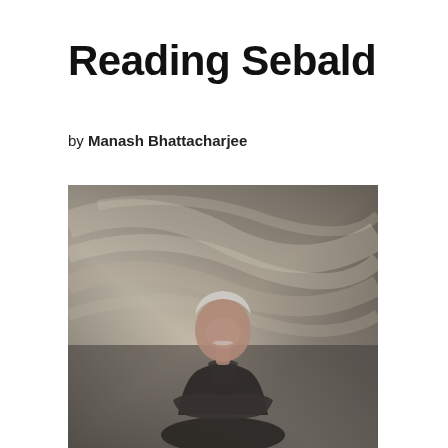Reading Sebald
by Manash Bhattacharjee
[Figure (photo): Black and white photo of a man with white hair and a mustache, sitting with arms crossed in front of a rocky or sandy hillside background. The man appears to be W.G. Sebald.]